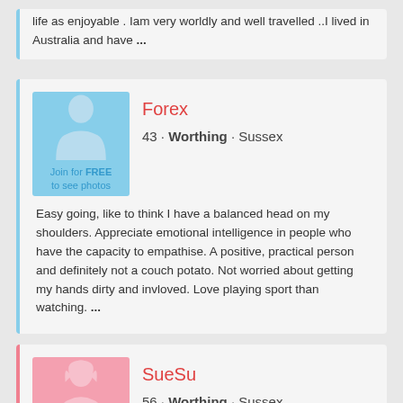life as enjoyable . Iam very worldly and well travelled ..I lived in Australia and have ...
[Figure (illustration): Male silhouette placeholder avatar on light blue background with 'Join for FREE to see photos' label]
Forex
43 · Worthing · Sussex
Easy going, like to think I have a balanced head on my shoulders. Appreciate emotional intelligence in people who have the capacity to empathise. A positive, practical person and definitely not a couch potato. Not worried about getting my hands dirty and invloved. Love playing sport than watching. ...
[Figure (illustration): Female silhouette placeholder avatar on pink background with 'Join for FREE to see photos' label]
SueSu
56 · Worthing · Sussex
This is a new adventure for me. I think after 5 years on my own it